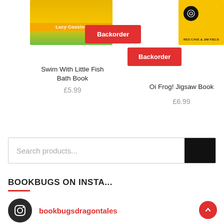[Figure (screenshot): Book cover for 'Swim With Little Fish Bath Book' partially visible at top left, with yellow/orange/green colors and 'Lucy Cousins' author band]
[Figure (other): Red 'Backorder' button overlaying left book product]
Swim With Little Fish Bath Book
£5.99
[Figure (screenshot): Book cover for 'Oi Frog! Jigsaw Book' partially visible at top right, yellow with bird illustration and 'Res Cave & Jim Field' text]
[Figure (other): Red 'Backorder' button overlaying right book product]
Oi Frog! Jigsaw Book
£6.99
Search products...
BOOKBUGS ON INSTA...
bookbugsdragontales